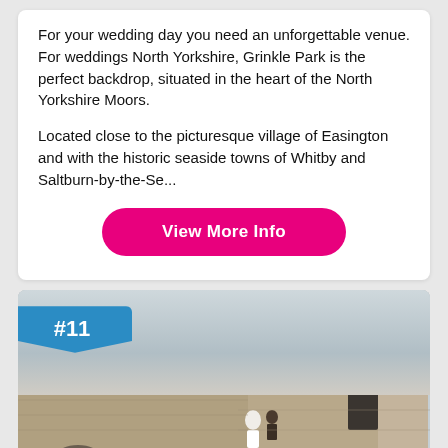For your wedding day you need an unforgettable venue. For weddings North Yorkshire, Grinkle Park is the perfect backdrop, situated in the heart of the North Yorkshire Moors.
Located close to the picturesque village of Easington and with the historic seaside towns of Whitby and Saltburn-by-the-Se...
View More Info
[Figure (photo): Photo of historic stone building ruins with a couple visible on the wall, under a cloudy sky. Badge shows #11 in blue.]